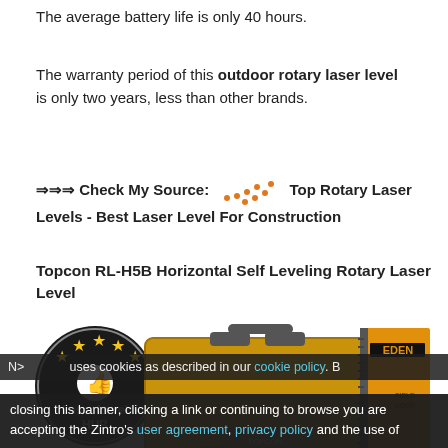The average battery life is only 40 hours.
The warranty period of this outdoor rotary laser level is only two years, less than other brands.
⇒⇒⇒ Check My Source: [dots decoration] Top Rotary Laser Levels - Best Laser Level For Construction
Topcon RL-H5B Horizontal Self Leveling Rotary Laser Level
[Figure (photo): Photo showing a yellow Topcon hard case with a Topcon rotary laser level in the foreground, alongside a Laser Level HUB star-rated logo badge and an EDEN field book notebook.]
uses cookies as described in our cookie policy. By closing this banner, clicking a link or continuing to browse you are accepting the Zintro's user agreement, privacy policy and the use of